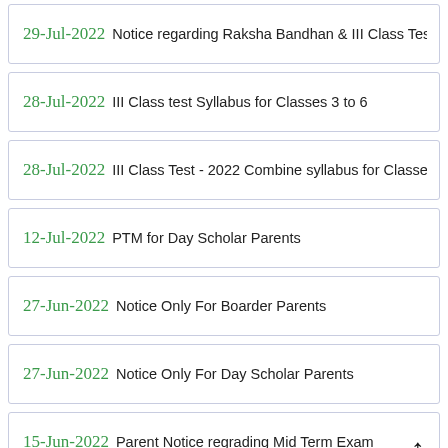29-Jul-2022 Notice regarding Raksha Bandhan & III Class Test
28-Jul-2022 III Class test Syllabus for Classes 3 to 6
28-Jul-2022 III Class Test - 2022 Combine syllabus for Classes 7- 1
12-Jul-2022 PTM for Day Scholar Parents
27-Jun-2022 Notice Only For Boarder Parents
27-Jun-2022 Notice Only For Day Scholar Parents
15-Jun-2022 Parent Notice regrading Mid Term Exam